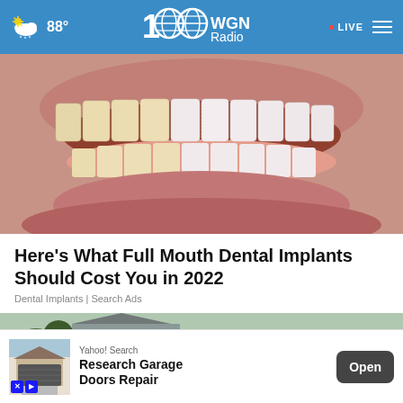88° WGN Radio · LIVE
[Figure (photo): Close-up of a human mouth showing teeth, split between natural and whitened teeth — dental implants advertisement image]
Here's What Full Mouth Dental Implants Should Cost You in 2022
Dental Implants | Search Ads
[Figure (photo): Close-up of damaged roof shingles on a house — roofing advertisement background image]
[Figure (screenshot): Yahoo! Search ad banner — Research Garage Doors Repair with Open button]